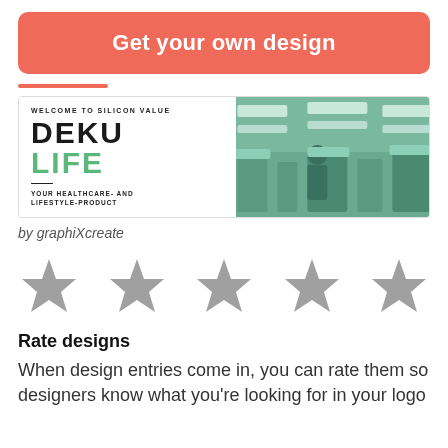Get your own design
[Figure (logo): Design preview showing 'WELCOME TO SILICON VALUE / DEKU LIFE / YOUR HEALTHCARE- AND LIFESTYLE-PRODUCT' on the left half (white background), and a teal-tinted laboratory/cleanroom image on the right half.]
by graphiXcreate
[Figure (illustration): Five gray star rating icons in a row]
Rate designs
When design entries come in, you can rate them so designers know what you're looking for in your logo